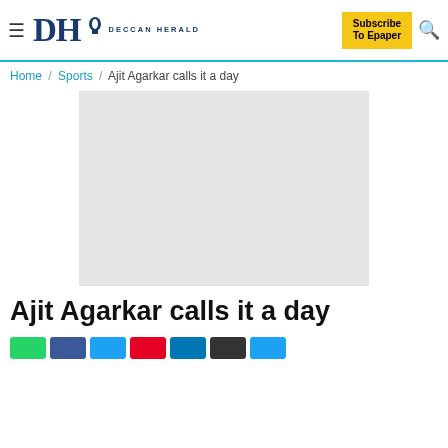DH DECCAN HERALD — Subscribe To Epaper
Home / Sports / Ajit Agarkar calls it a day
[Figure (photo): Article image placeholder (light gray rectangle)]
Ajit Agarkar calls it a day
[Social share buttons: WhatsApp, Facebook, Twitter, Pinterest, LinkedIn, Email, More]